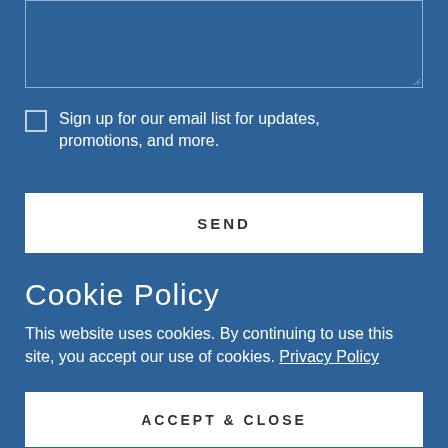[Figure (other): Text area input box with resize handle at bottom right]
Sign up for our email list for updates, promotions, and more.
SEND
Cookie Policy
This website uses cookies. By continuing to use this site, you accept our use of cookies. Privacy Policy
ACCEPT & CLOSE